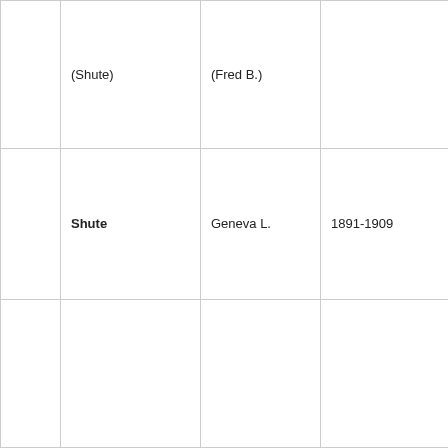|  | (Shute) | (Fred B.) |  |  |
|  | Shute | Geneva L. | 1891-1909 |  |
|  |  |  |  |  |